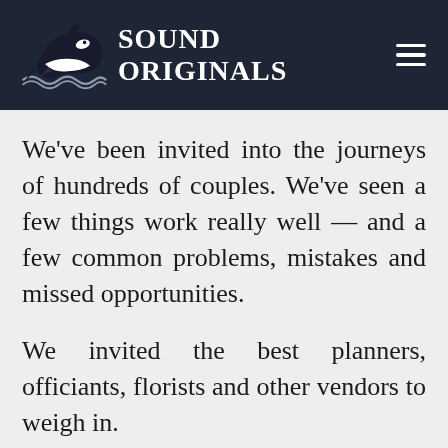SOUND ORIGINALS
We've been invited into the journeys of hundreds of couples. We've seen a few things work really well — and a few common problems, mistakes and missed opportunities.
We invited the best planners, officiants, florists and other vendors to weigh in.